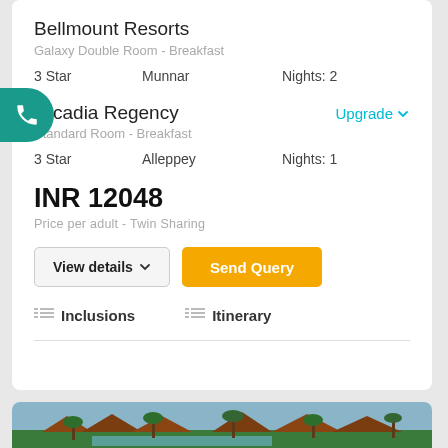Bellmount Resorts
Galaxy Double Room - Breakfast
3 Star   Munnar   Nights: 2
Arcadia Regency
Standard Room - Breakfast
Upgrade
3 Star   Alleppey   Nights: 1
INR 12048
Price per adult - Twin Sharing
View details
Send Query
Inclusions
Itinerary
[Figure (photo): Resort with tropical thatched-roof bungalows surrounded by palm trees and a water channel]